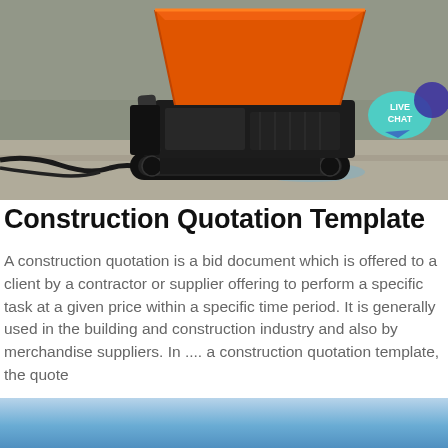[Figure (photo): Orange mini tracked dumper/construction machine on a concrete surface with a hose nearby. A 'LIVE CHAT' bubble is visible in the top right corner of the image.]
Construction Quotation Template
A construction quotation is a bid document which is offered to a client by a contractor or supplier offering to perform a specific task at a given price within a specific time period. It is generally used in the building and construction industry and also by merchandise suppliers. In .... a construction quotation template, the quote
« Send message